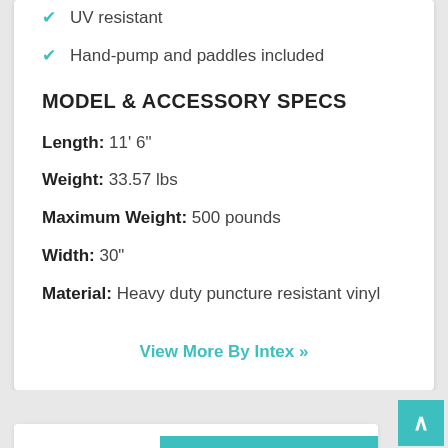UV resistant
Hand-pump and paddles included
MODEL & ACCESSORY SPECS
Length: 11' 6"
Weight: 33.57 lbs
Maximum Weight: 500 pounds
Width: 30"
Material: Heavy duty puncture resistant vinyl
View More By Intex »